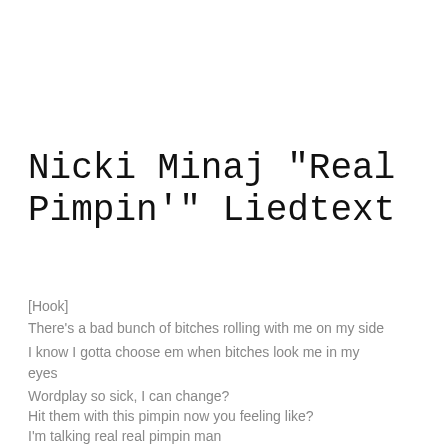Nicki Minaj "Real Pimpin'" Liedtext
[Hook]
There's a bad bunch of bitches rolling with me on my side
I know I gotta choose em when bitches look me in my eyes
Wordplay so sick, I can change?
Hit them with this pimpin now you feeling like?
I'm talking real real pimpin man
(I'm talkin' real pimping)